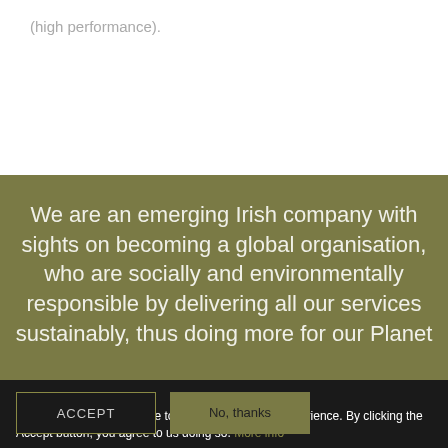(high performance).
We are an emerging Irish company with sights on becoming a global organisation, who are socially and environmentally responsible by delivering all our services sustainably, thus doing more for our Planet
We use cookies on this site to enhance your user experience. By clicking the Accept button, you agree to us doing so. More info
ACCEPT
No, thanks